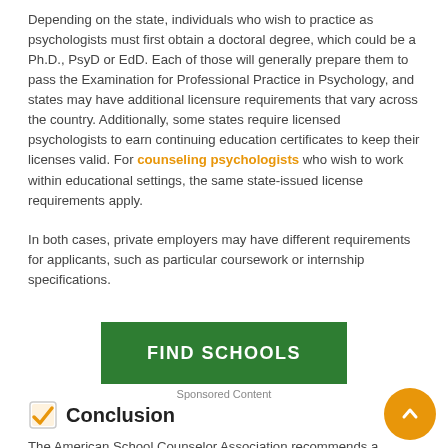Depending on the state, individuals who wish to practice as psychologists must first obtain a doctoral degree, which could be a Ph.D., PsyD or EdD. Each of those will generally prepare them to pass the Examination for Professional Practice in Psychology, and states may have additional licensure requirements that vary across the country. Additionally, some states require licensed psychologists to earn continuing education certificates to keep their licenses valid. For counseling psychologists who wish to work within educational settings, the same state-issued license requirements apply.
In both cases, private employers may have different requirements for applicants, such as particular coursework or internship specifications.
[Figure (other): Green 'FIND SCHOOLS' button with 'Sponsored Content' label below]
Conclusion
The American School Counselor Association recommends a student-to-counselor ratio of 250-1, but the national average is closer to 450-1. What that tells us that hundreds of schools are in need of well-educated, qualified and licensed counselors to